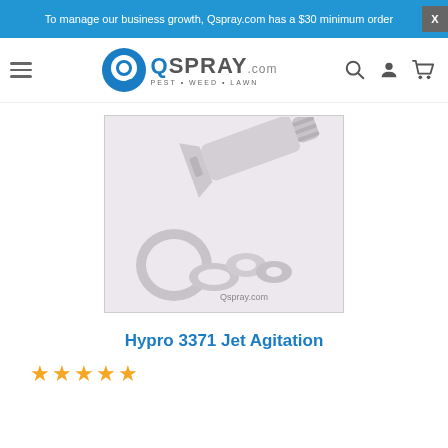To manage our business growth, Qspray.com has a $30 minimum order
[Figure (logo): Qspray.com logo with circular blue Q icon and text SPRAY.com, tagline PEST • WEED • LAWN]
[Figure (photo): Hypro 3371 Jet Agitation kit showing a white plastic nozzle/agitator body and several white rubber washers/gaskets on a light purple background, with Qspray.com watermark]
Hypro 3371 Jet Agitation
★★★★★